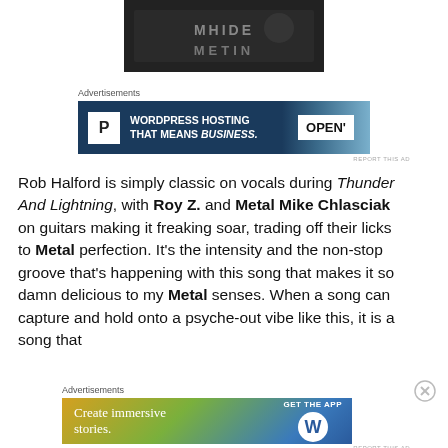[Figure (photo): Partial image of a dark metal/rock album or product with stylized text, cropped at top of page]
Advertisements
[Figure (other): Advertisement banner: WordPress hosting - 'WORDPRESS HOSTING THAT MEANS BUSINESS.' with P logo on dark blue background and OPEN sign photo on right]
Rob Halford is simply classic on vocals during Thunder And Lightning, with Roy Z. and Metal Mike Chlasciak on guitars making it freaking soar, trading off their licks to Metal perfection. It's the intensity and the non-stop groove that's happening with this song that makes it so damn delicious to my Metal senses. When a song can capture and hold onto a psyche-out vibe like this, it is a song that
Advertisements
[Figure (other): Advertisement banner: 'Create immersive stories.' with GET THE APP and WordPress logo on gradient background]